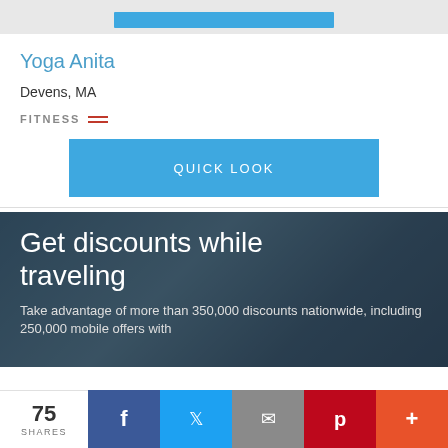Yoga Anita
Devens, MA
FITNESS
QUICK LOOK
[Figure (photo): Dark overlay banner photo of people, with text overlay 'Get discounts while traveling'. Subtext: Take advantage of more than 350,000 discounts nationwide, including 250,000 mobile offers with]
Get discounts while traveling
Take advantage of more than 350,000 discounts nationwide, including 250,000 mobile offers with
75 SHARES
f
♥
✉
p
+